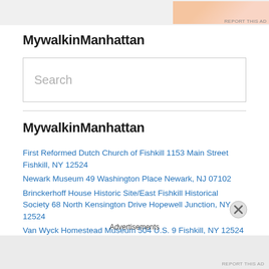[Figure (other): Advertisement banner at top of page with decorative floral/food imagery and 'REPORT THIS AD' text]
MywalkinManhattan
[Figure (other): Search input box with placeholder text 'Search']
MywalkinManhattan
First Reformed Dutch Church of Fishkill 1153 Main Street Fishkill, NY 12524
Newark Museum 49 Washington Place Newark, NJ 07102
Brinckerhoff House Historic Site/East Fishkill Historical Society 68 North Kensington Drive Hopewell Junction, NY 12524
Van Wyck Homestead Museum 504 U.S. 9 Fishkill, NY 12524
City Island Nautical Museum/City Island Historical Society 190 Fordham...
Advertisements